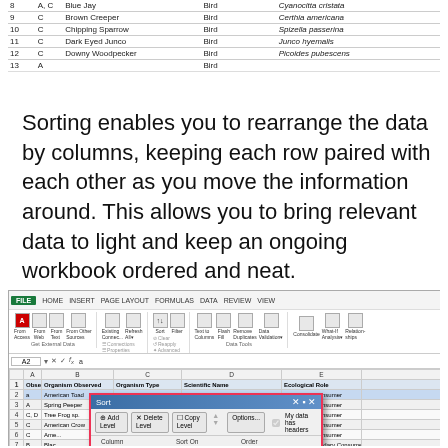|  |  | Organism Observed | Organism Type | Scientific Name | Ecological Role |
| --- | --- | --- | --- | --- | --- |
| 8 | A, C | Blue Jay | Bird |  | Cyanocitta cristata |
| 9 | C | Brown Creeper | Bird |  | Certhia americana |
| 10 | C | Chipping Sparrow | Bird |  | Spizella passerina |
| 11 | C | Dark Eyed Junco | Bird |  | Junco hyemalis |
| 12 | C | Downy Woodpecker | Bird |  | Picoides pubescens |
| 13 | A |  | Bird |  |  |
Sorting enables you to rearrange the data by columns, keeping each row paired with each other as you move the information around. This allows you to bring relevant data to light and keep an ongoing workbook ordered and neat.
[Figure (screenshot): Microsoft Excel screenshot showing a spreadsheet with biological observation data (Observed, Organism Observed, Organism Type, Scientific Name, Ecological Role columns) and an open Sort dialog box. The Sort dialog shows a dropdown with Organism Type selected, Sort On: Values, Order: A to Z, with a list of columns visible.]